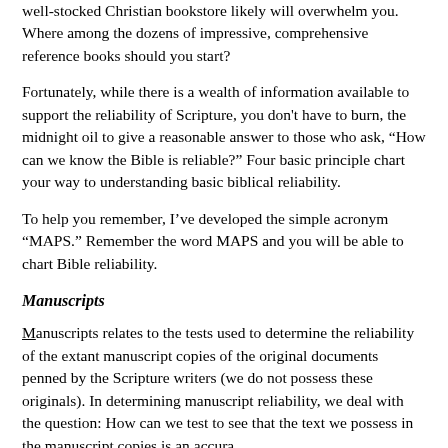well-stocked Christian bookstore likely will overwhelm you. Where among the dozens of impressive, comprehensive reference books should you start?
Fortunately, while there is a wealth of information available to support the reliability of Scripture, you don't have to burn, the midnight oil to give a reasonable answer to those who ask, “How can we know the Bible is reliable?” Four basic principle chart your way to understanding basic biblical reliability.
To help you remember, I’ve developed the simple acronym “MAPS.” Remember the word MAPS and you will be able to chart Bible reliability.
Manuscripts
Manuscripts relates to the tests used to determine the reliability of the extant manuscript copies of the original documents penned by the Scripture writers (we do not possess these originals). In determining manuscript reliability, we deal with the question: How can we test to see that the text we possess in the manuscript copies is an accurate